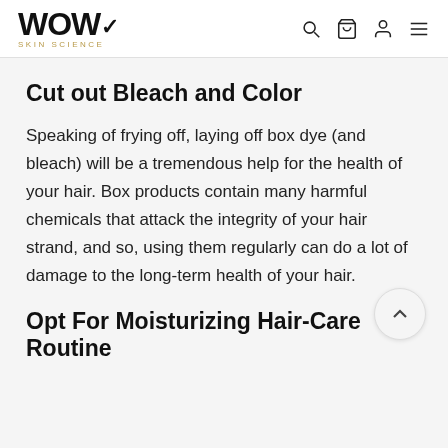WOW SKIN SCIENCE
Cut out Bleach and Color
Speaking of frying off, laying off box dye (and bleach) will be a tremendous help for the health of your hair. Box products contain many harmful chemicals that attack the integrity of your hair strand, and so, using them regularly can do a lot of damage to the long-term health of your hair.
Opt For Moisturizing Hair-Care Routine